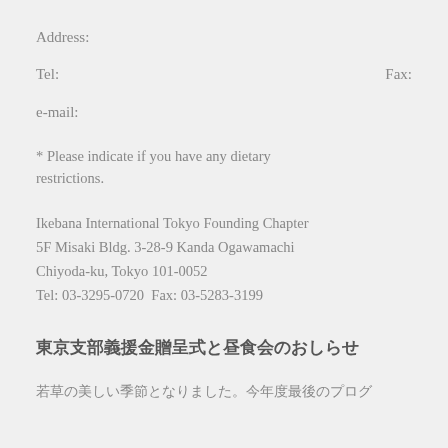Address:
Tel:                                         Fax:
e-mail:
* Please indicate if you have any dietary restrictions.
Ikebana International Tokyo Founding Chapter
5F Misaki Bldg. 3-28-9 Kanda Ogawamachi
Chiyoda-ku, Tokyo 101-0052
Tel: 03-3295-0720  Fax: 03-5283-3199
東京支部義援金贈呈式と昼食会のおしらせ
若草の美しい季節となりました。今年度最後のプログ